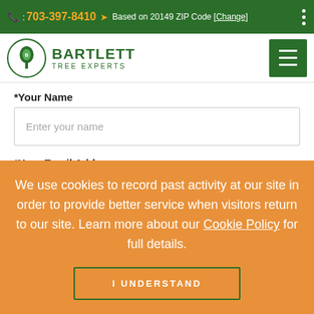: 703-397-8410  Based on 20149 ZIP Code [Change]
[Figure (logo): Bartlett Tree Experts logo with green circle emblem and company name]
*Your Name
Enter your name
*Your Email Address
someone@example.com
We use cookies to record past activity at our site in order to provide better service when visitors return to our site. Learn more about our Cookie Policy for full details.
I UNDERSTAND